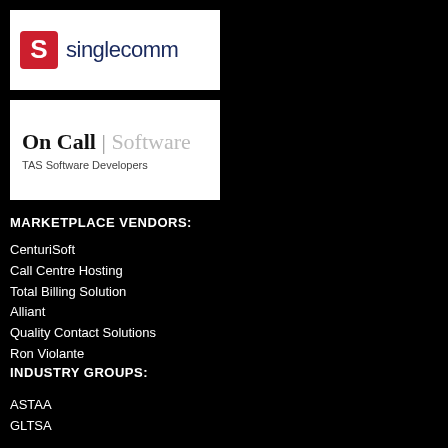[Figure (logo): SingleComm logo with red S icon and dark blue text 'singlecomm']
[Figure (logo): On Call | Software logo with 'TAS Software Developers' subtitle]
MARKETPLACE VENDORS:
CenturiSoft
Call Centre Hosting
Total Billing Solution
Alliant
Quality Contact Solutions
Ron Violante
INDUSTRY GROUPS:
ASTAA
GLTSA